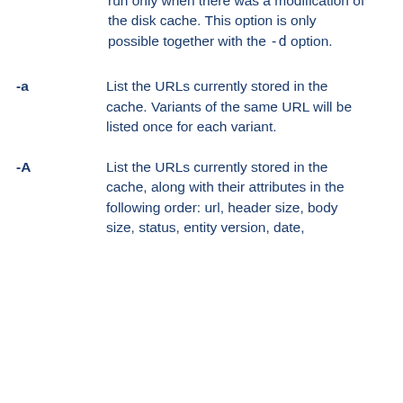run only when there was a modification of the disk cache. This option is only possible together with the -d option.
-a
List the URLs currently stored in the cache. Variants of the same URL will be listed once for each variant.
-A
List the URLs currently stored in the cache, along with their attributes in the following order: url, header size, body size, status, entity version, date,